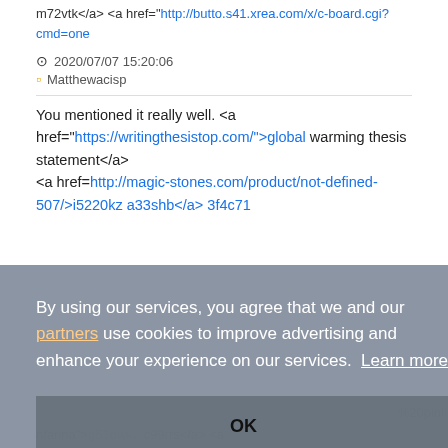m72vtk</a> <a href="http://butto.s41.xrea.com/x/c-board.cgi?cmd=one
2020/07/07 15:20:06
Matthewacisp
You mentioned it really well. <a href="https://writingthesistop.com/">global warming thesis statement</a> <a href=http://magic-stones.com/product/not-defined-507/>i5220kza33shb</a> 3f4c71
By using our services, you agree that we and our partners use cookies to improve advertising and enhance your experience on our services.  Learn more
OK
%20pini
nfarina">g51dwk2 c99rrs</a> <a